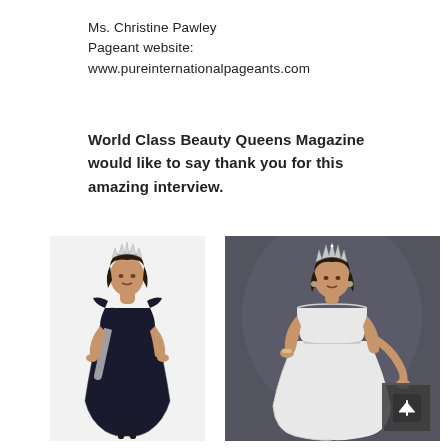Ms. Christine Pawley
Pageant website:
www.pureinternationalpageants.com
World Class Beauty Queens Magazine would like to say thank you for this amazing interview.
[Figure (photo): Woman wearing a black lace sequined gown with a pageant sash and tiara crown, posing on a white background]
[Figure (photo): Woman wearing a white strapless gown and tiara crown, posing against a dark grey background with a scroll-up button overlay in the bottom right corner]